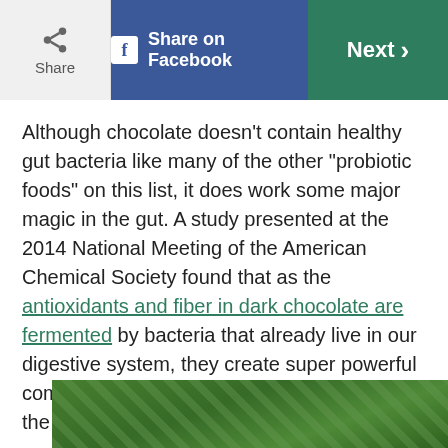Share | Share on Facebook | Next >
Although chocolate doesn't contain healthy gut bacteria like many of the other “probiotic foods” on this list, it does work some major magic in the gut. A study presented at the 2014 National Meeting of the American Chemical Society found that as the antioxidants and fiber in dark chocolate are fermented by bacteria that already live in our digestive system, they create super powerful compounds that may reduce inflammation in the body.
[Figure (photo): Close-up photo of green vegetables or pickles in a jar, partially visible at the bottom of the page]